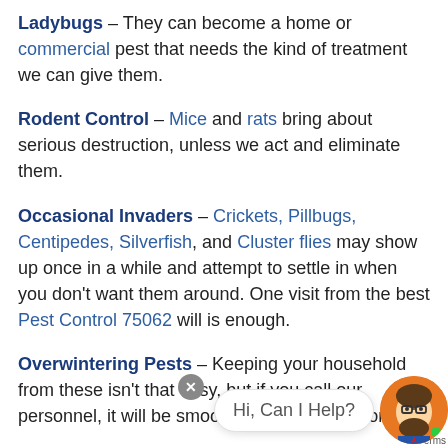Ladybugs – They can become a home or commercial pest that needs the kind of treatment we can give them.
Rodent Control – Mice and rats bring about serious destruction, unless we act and eliminate them.
Occasional Invaders – Crickets, Pillbugs, Centipedes, Silverfish, and Cluster flies may show up once in a while and attempt to settle in when you don't want them around. One visit from the best Pest Control 75062 will is enough.
Overwintering Pests – Keeping your household from these isn't that easy, but if you call our personnel, it will be smoothly and properly done.